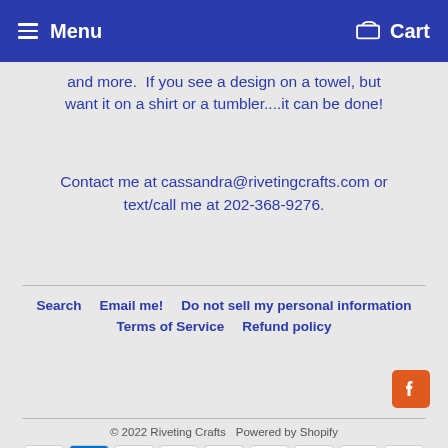Menu  Cart
and more.  If you see a design on a towel, but want it on a shirt or a tumbler....it can be done!
Contact me at cassandra@rivetingcrafts.com or text/call me at 202-368-9276.
Search   Email me!   Do not sell my personal information   Terms of Service   Refund policy
[Figure (logo): Facebook icon - orange square with white F]
© 2022 Riveting Crafts   Powered by Shopify
[Figure (other): Payment icons: Amazon, American Express, Apple Pay, Diners Club, Discover, Meta Pay, Google Pay, Mastercard, PayPal]